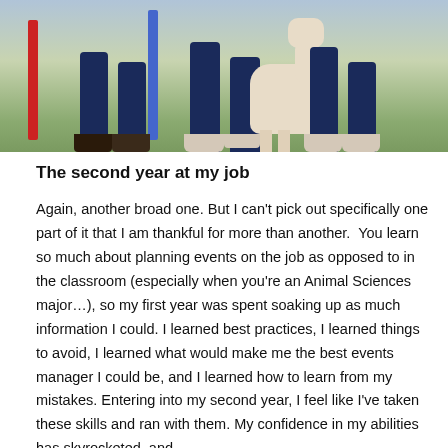[Figure (photo): Outdoor photo showing legs of people seated, with a light-colored dog standing among them on grass. Vertical bars visible on the left side.]
The second year at my job
Again, another broad one. But I can't pick out specifically one part of it that I am thankful for more than another.  You learn so much about planning events on the job as opposed to in the classroom (especially when you're an Animal Sciences major…), so my first year was spent soaking up as much information I could. I learned best practices, I learned things to avoid, I learned what would make me the best events manager I could be, and I learned how to learn from my mistakes. Entering into my second year, I feel like I've taken these skills and ran with them. My confidence in my abilities has skyrocketed, and